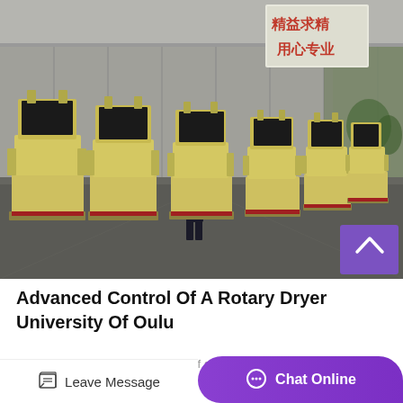[Figure (photo): Industrial warehouse or factory interior showing a row of large yellow impact crusher machines lined up on a concrete floor. A person in dark clothing stands among the machines for scale. Chinese text signage visible on back wall. Purple scroll-up button overlay in lower right corner.]
Advanced Control Of A Rotary Dryer University Of Oulu
Yliniemi, Ieena, advanced control of a rotary dryer, department of